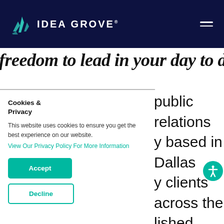IDEA GROVE®
freedom to lead in your day to day role?
Cookies & Privacy
This website uses cookies to ensure you get the best experience on our website.
View Our Privacy Policy For More Information
Accept
Decline
public relations y based in Dallas y clients across the lished brands like , along with tting-edge verged industries cial services, retail win by ntegrated ss growth, working